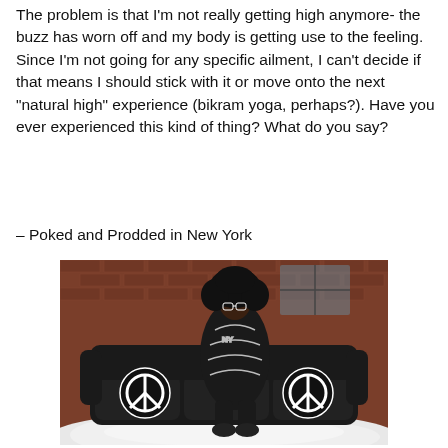The problem is that I'm not really getting high anymore- the buzz has worn off and my body is getting use to the feeling. Since I'm not going for any specific ailment, I can't decide if that means I should stick with it or move onto the next "natural high" experience (bikram yoga, perhaps?). Have you ever experienced this kind of thing? What do you say?
– Poked and Prodded in New York
[Figure (photo): A person with large curly hair wearing a black patterned outfit sits on a black leather couch with white peace sign pillows, set outdoors against a brick wall with white fluffy material on the ground.]